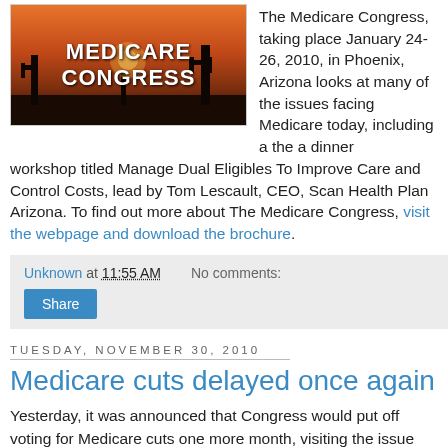[Figure (photo): Medicare Congress logo image with desert sunset and saguaro cactus silhouette, text reads MEDICARE CONGRESS]
The Medicare Congress, taking place January 24-26, 2010, in Phoenix, Arizona looks at many of the issues facing Medicare today, including a the a dinner workshop titled Manage Dual Eligibles To Improve Care and Control Costs, lead by Tom Lescault, CEO, Scan Health Plan Arizona. To find out more about The Medicare Congress, visit the webpage and download the brochure.
Unknown at 11:55 AM   No comments:
Share
Tuesday, November 30, 2010
Medicare cuts delayed once again
Yesterday, it was announced that Congress would put off voting for Medicare cuts one more month, visiting the issue again on January 1. The cut of 23% was to be voted tomorrow. This has been happening for the past year, and